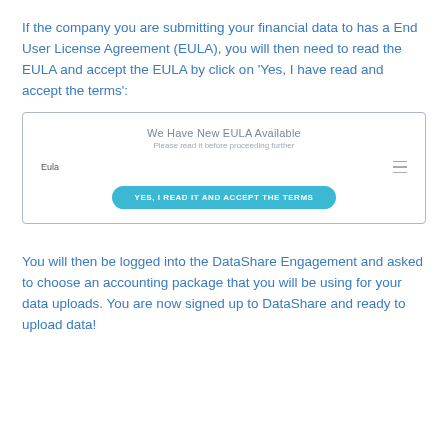If the company you are submitting your financial data to has a End User License Agreement (EULA), you will then need to read the EULA and accept the EULA by click on 'Yes, I have read and accept the terms':
[Figure (screenshot): Screenshot of a dialog box titled 'We Have New EULA Available' with subtitle 'Please read it before proceeding further', a row labeled 'Eula' with a hamburger/menu icon on the right, and a teal rounded button reading 'YES, I READ IT AND ACCEPT THE TERMS']
You will then be logged into the DataShare Engagement and asked to choose an accounting package that you will be using for your data uploads. You are now signed up to DataShare and ready to upload data!